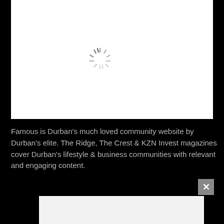[Figure (other): White content area with a loading spinner (radial lines in grey) in the upper center portion of the page]
Famous is Durban's much loved community website by Durban's elite. The Ridge, The Crest & KZN Invest magazines cover Durban's lifestyle & business communities with relevant and engaging content.
[Figure (other): Advertisement bar at bottom with a light grey inner box and a dark close button (X) in the upper right corner]